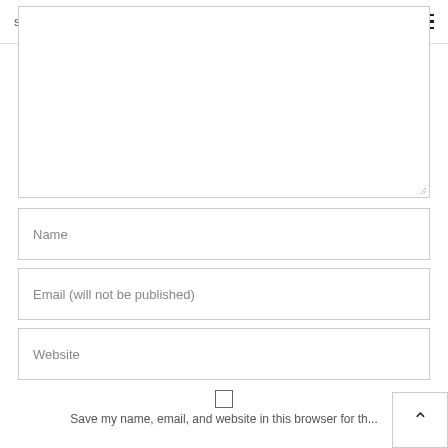search
[Figure (screenshot): Large textarea input box (empty), with resize handle at bottom-right corner]
Name
Email (will not be published)
Website
Save my name, email, and website in this browser for th...